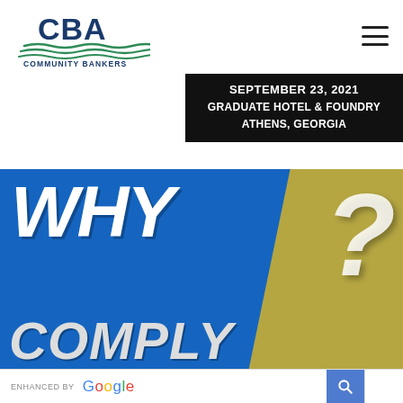[Figure (logo): Community Bankers Association of Georgia (CBA) logo with stylized wave graphic and organization name]
[Figure (infographic): Hamburger menu icon (three horizontal lines) in top right corner]
SEPTEMBER 23, 2021
GRADUATE HOTEL & FOUNDRY
ATHENS, GEORGIA
[Figure (infographic): Large blue brick-textured banner with bold white italic text reading 'WHY?' and 'COMPLY' on a blue and gold background with a large question mark]
ENHANCED BY Google